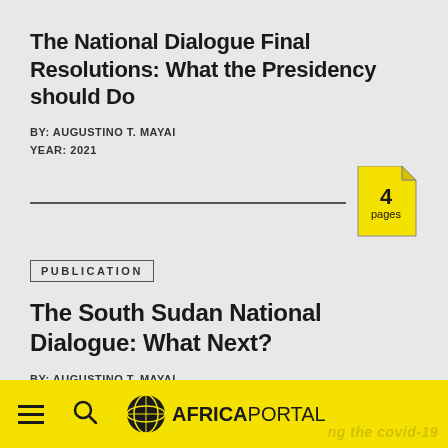The National Dialogue Final Resolutions: What the Presidency should Do
BY: AUGUSTINO T. MAYAI
YEAR: 2021
[Figure (other): Document page badge showing '4 pages' in yellow with folded corner icon]
PUBLICATION
The South Sudan National Dialogue: What Next?
BY: AUGUSTINO T. MAYAI
YEAR: 2020
[Figure (other): Document page badge showing '5 pages' in yellow with folded corner icon]
AFRICAPORTAL